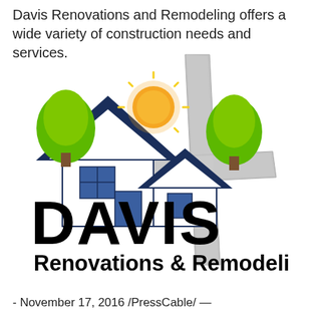Davis Renovations and Remodeling offers a wide variety of construction needs and services.
[Figure (logo): Davis Renovations & Remodeling logo featuring two houses with blue roofs, green trees, a sun, a grey cross, and bold black text reading DAVIS Renovations & Remodeling]
- November 17, 2016 /PressCable/ —